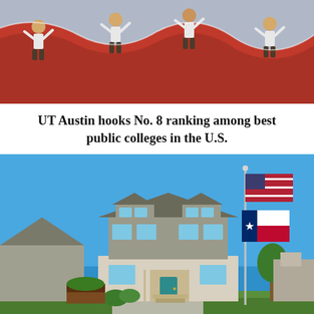[Figure (photo): Several people in white shirts holding up a large red fabric or tarp, kneeling and stretching it out on the ground.]
UT Austin hooks No. 8 ranking among best public colleges in the U.S.
[Figure (photo): A two-story suburban house with gray siding and stone exterior, a teal front door, green lawn, and an American flag and Texas state flag flying on a tall flagpole to the right under a bright blue sky.]